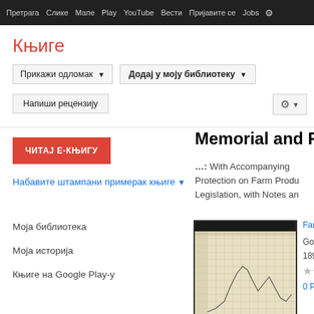Претрага  Слике  Мапе  Play  YouTube  Вести  Пријавите се  Jobs  ⚙
Књиге
Прикажи одломак ▼   Додај у моју библиотеку ▼
Напиши рецензију
ЧИТАЈ Е-КЊИГУ
Memorial and R
...: With Accompanying Protection on Farm Products Legislation, with Notes and
Набавите штампани примерак књиге ▼
Моја библиотека
Моја историја
Књиге на Google Play-у
[Figure (other): Book cover thumbnail showing a historical chart/graph on yellowed paper with dark header and footer. Footer text reads 'Memorial']
Farm
Gove
1896
★★
0 Рец